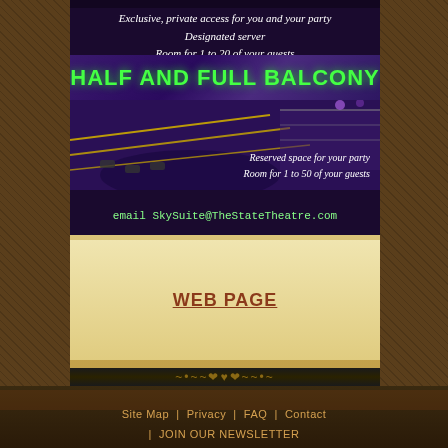[Figure (photo): Promotional image for State Theatre Sky Suite private events. Top portion shows white text on dark background: 'Exclusive, private access for you and your party / Designated server / Room for 1 to 20 of your guests'. Middle section shows 'HALF AND FULL BALCONY' in green bold text over a purple-lit theatre interior with yellow accent lines showing balcony seating. Bottom right text reads 'Reserved space for your party / Room for 1 to 50 of your guests'. Bottom bar in dark purple with green text: 'email SkySuite@TheStateTheatre.com']
WEB PAGE
Site Map  |  Privacy  |  FAQ  |  Contact  |  JOIN OUR NEWSLETTER